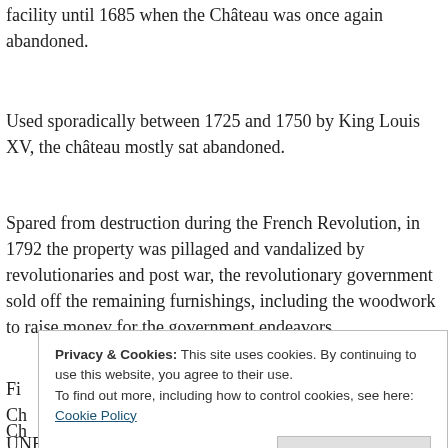facility until 1685 when the Château was once again abandoned.
Used sporadically between 1725 and 1750 by King Louis XV, the château mostly sat abandoned.
Spared from destruction during the French Revolution, in 1792 the property was pillaged and vandalized by revolutionaries and post war, the revolutionary government sold off the remaining furnishings, including the woodwork to raise money for the government endeavors.
Fi...
Ch...
Ch...
wh... a
UNESCO World Heritage site.
Privacy & Cookies: This site uses cookies. By continuing to use this website, you agree to their use. To find out more, including how to control cookies, see here: Cookie Policy